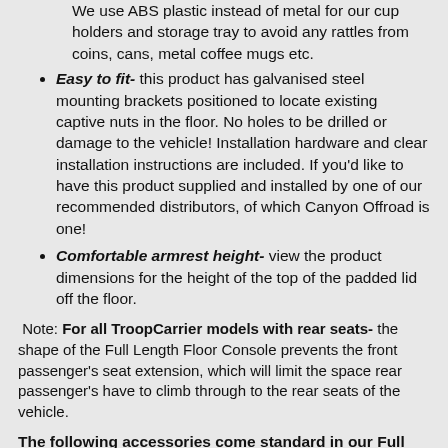No rattles- We use ABS plastic instead of metal for our cup holders and storage tray to avoid any rattles from coins, cans, metal coffee mugs etc.
Easy to fit- this product has galvanised steel mounting brackets positioned to locate existing captive nuts in the floor. No holes to be drilled or damage to the vehicle! Installation hardware and clear installation instructions are included. If you'd like to have this product supplied and installed by one of our recommended distributors, of which Canyon Offroad is one!
Comfortable armrest height- view the product dimensions for the height of the top of the padded lid off the floor.
Note: For all TroopCarrier models with rear seats- the shape of the Full Length Floor Console prevents the front passenger's seat extension, which will limit the space rear passenger's have to climb through to the rear seats of the vehicle.
The following accessories come standard in our Full Length Floor Console: